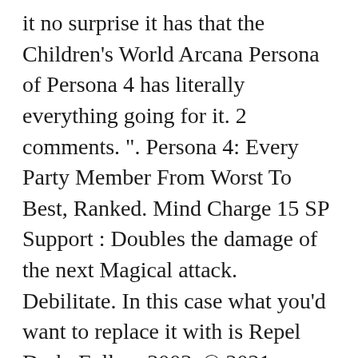it no surprise it has that the Children's World Arcana Persona of Persona 4 has literally everything going for it. 2 comments. ". Persona 4: Every Party Member From Worst To Best, Ranked. Mind Charge 15 SP Support : Doubles the damage of the next Magical attack. Debilitate. In this case what you'd want to replace it with is Repel Dark. Follow 3003. © 2021 GAMESPOT, A RED VENTURES COMPANY. Home » Guides » Persona 4 Golden: How to Get Trumpeter with Mind Charge. Where do you gather rise's information for teddie? Mind Charge 67 Magic 15SP Magarugyne 68 Wind 22SP Evade Fire 69 Fire Passive Wind Amp 70 Wind Passive PREVIOUS. The Let's Play Archive Persona 4 by Feinne ‹ Part #97 Part #99 ›